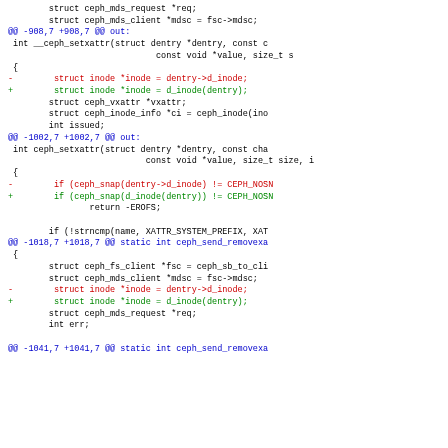[Figure (screenshot): A code diff snippet showing changes in C source code for the Ceph filesystem driver, with removed lines in red (using dentry->d_inode) and added lines in green (using d_inode(dentry)). Hunk headers are shown in blue.]